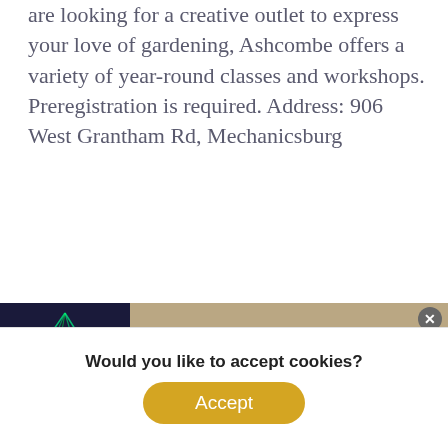are looking for a creative outlet to express your love of gardening, Ashcombe offers a variety of year-round classes and workshops. Preregistration is required. Address: 906 West Grantham Rd, Mechanicsburg
Highland Gardens
In business for over 50 years, this family-run gardening center specializes in dwarf evergreens, perennials, annuals, and herbs. With over 1,500 kinds of perennials and everything else, you need to have a s... and Garde... our
[Figure (infographic): Advertisement overlay: 'The Place to Play! Visit Carlisle Sports Emporium' with arrow, showing a concert/event image on the left with green laser lights and performers]
Would you like to accept cookies?
Accept